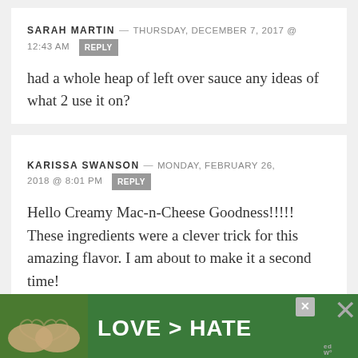SARAH MARTIN — THURSDAY, DECEMBER 7, 2017 @ 12:43 AM  REPLY
had a whole heap of left over sauce any ideas of what 2 use it on?
KARISSA SWANSON — MONDAY, FEBRUARY 26, 2018 @ 8:01 PM  REPLY
Hello Creamy Mac-n-Cheese Goodness!!!!! These ingredients were a clever trick for this amazing flavor. I am about to make it a second time!
[Figure (photo): Advertisement banner showing hands forming a heart shape over a green background with text LOVE > HATE]